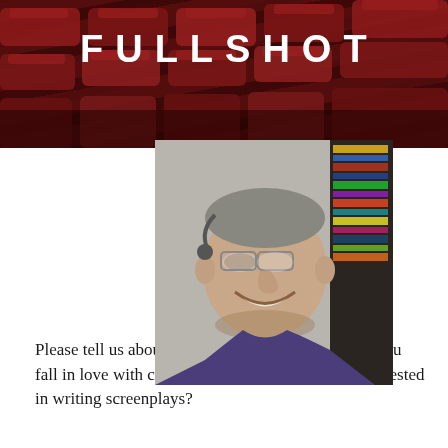[Figure (photo): Header banner showing red theater/cinema seats in the background with the word FULLSHOT in large white bold uppercase letters with wide letter spacing]
[Figure (photo): Photo of a smiling middle-aged man with glasses wearing a dark blue/purple polo shirt, laughing, with bookshelves visible in background]
Please tell us about your background. What made you fall in love with cinema? How did you become interested in writing screenplays?